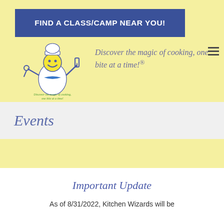FIND A CLASS/CAMP NEAR YOU!
[Figure (logo): Kitchen Wizards logo with chef character and text 'Discover the magic of cooking, one bite at a time!']
Discover the magic of cooking, one bite at a time!®
Events
Important Update
As of 8/31/2022, Kitchen Wizards will be